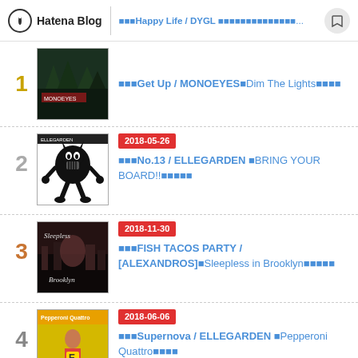Hatena Blog  ████Happy Life / DYGL ██████████████...
████Get Up / MONOEYES█Dim The Lights█████
2018-05-26  ████No.13 / ELLEGARDEN █BRING YOUR BOARD!!██████
2018-11-30  ████FISH TACOS PARTY / [ALEXANDROS]█Sleepless in Brooklyn██████
2018-06-06  ████Supernova / ELLEGARDEN █Pepperoni Quattro██████